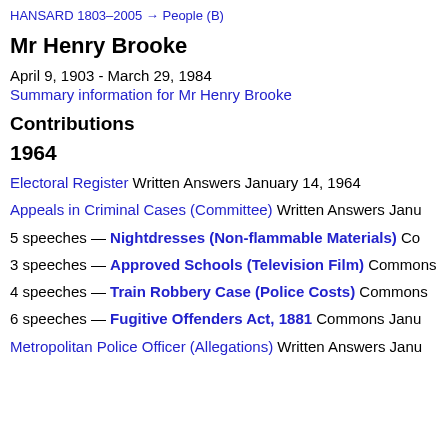HANSARD 1803–2005 → People (B)
Mr Henry Brooke
April 9, 1903 - March 29, 1984
Summary information for Mr Henry Brooke
Contributions
1964
Electoral Register Written Answers January 14, 1964
Appeals in Criminal Cases (Committee) Written Answers Janu…
5 speeches — Nightdresses (Non-flammable Materials) Co…
3 speeches — Approved Schools (Television Film) Commons…
4 speeches — Train Robbery Case (Police Costs) Commons…
6 speeches — Fugitive Offenders Act, 1881 Commons Janu…
Metropolitan Police Officer (Allegations) Written Answers Janu…